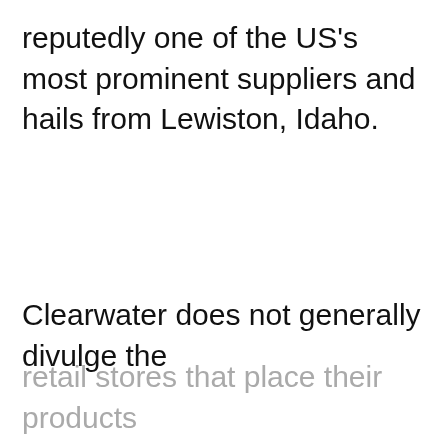reputedly one of the US's most prominent suppliers and hails from Lewiston, Idaho.
Clearwater does not generally divulge the
retail stores that place their products